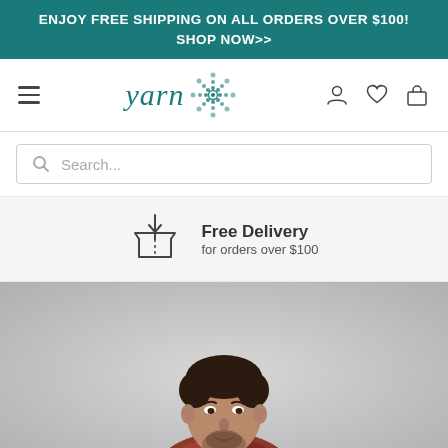ENJOY FREE SHIPPING ON ALL ORDERS OVER $100! SHOP NOW>>
[Figure (logo): Yarn brand logo with decorative mandala/dot art icon in teal]
[Figure (infographic): Free delivery icon - open box with arrow pointing down, text: Free Delivery for orders over $100]
[Figure (photo): Male model with dark short hair and beard wearing a colorful patterned top, photographed against a light gray background, cropped at upper torso showing face and upper body]